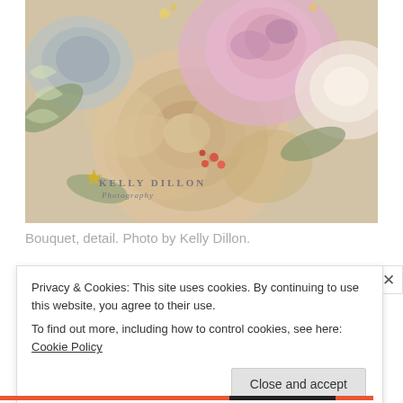[Figure (photo): Close-up detail photo of a wedding bouquet featuring roses in muted lavender, blush, and golden tones, with greenery. Watermark overlay reads 'Kelly Dillon Photography'.]
Bouquet, detail. Photo by Kelly Dillon.
Privacy & Cookies: This site uses cookies. By continuing to use this website, you agree to their use.
To find out more, including how to control cookies, see here: Cookie Policy
Close and accept